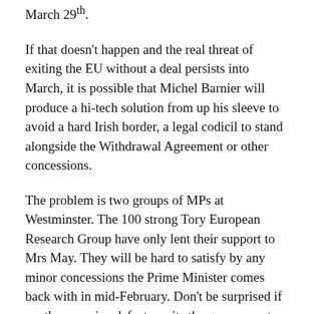March 29th.
If that doesn't happen and the real threat of exiting the EU without a deal persists into March, it is possible that Michel Barnier will produce a hi-tech solution from up his sleeve to avoid a hard Irish border, a legal codicil to stand alongside the Withdrawal Agreement or other concessions.
The problem is two groups of MPs at Westminster. The 100 strong Tory European Research Group have only lent their support to Mrs May. They will be hard to satisfy by any minor concessions the Prime Minister comes back with in mid-February. Don't be surprised if another massive defeat awaits the government then.
The other problem is the Labour Brexiteers. 14 of them including Graham Stringer (Manchester